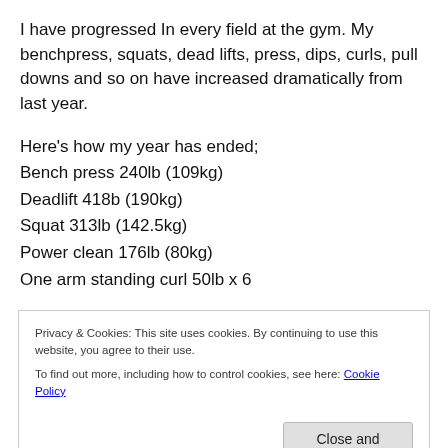I have progressed In every field at the gym. My benchpress, squats, dead lifts, press, dips, curls, pull downs and so on have increased dramatically from last year.
Here's how my year has ended;
Bench press 240lb (109kg)
Deadlift 418b (190kg)
Squat 313lb (142.5kg)
Power clean 176lb (80kg)
One arm standing curl 50lb x 6
Privacy & Cookies: This site uses cookies. By continuing to use this website, you agree to their use.
To find out more, including how to control cookies, see here: Cookie Policy
Close and accept
Front pull downs 200lb x 6 (100kg)